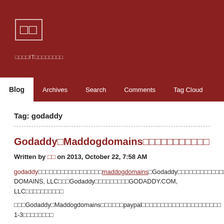□□
□□□□IT□□□□□□□□
Blog | Archives | Search | Comments | Tag Cloud
Tag: godaddy
Godaddy□Maddogdomains□□□□□□□□□□□
Written by □□ on 2013, October 22, 7:58 AM
godaddy□□□□□□□□□□□□□□□□□maddogdomains□Godaddy□□□□□□□□□□□□□□Mad DOMAINS, LLC□□□Godaddy□□□□□□□□□GODADDY.COM, LLC□□□□□□□□□□
□□□Godaddy□Maddogdomains□□□□□□paypal□□□□□□□□□□□□□□□□□□□□□ 1-3□□□□□□□□